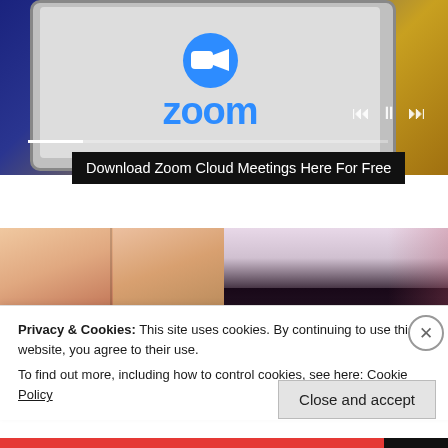[Figure (screenshot): Zoom app logo displayed on a tablet screen, with media player controls (skip back, pause, skip forward) and a progress bar visible. Dark blue and gold background.]
Download Zoom Cloud Meetings Here For Free
[Figure (photo): Two close-up photos side by side: left shows two women's faces with surprised expressions; right shows a woman with dark hair lying with two babies.]
Privacy & Cookies: This site uses cookies. By continuing to use this website, you agree to their use.
To find out more, including how to control cookies, see here: Cookie Policy
Close and accept